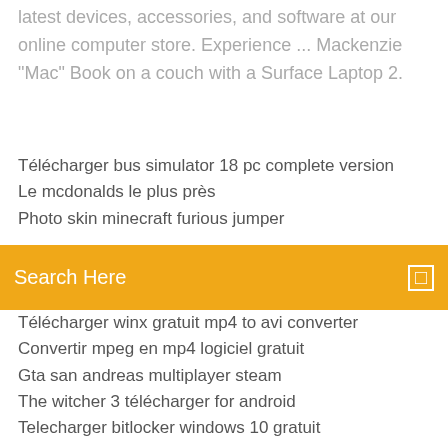latest devices, accessories, and software at our online computer store. Experience ... Mackenzie "Mac" Book on a couch with a Surface Laptop 2.
Télécharger bus simulator 18 pc complete version
Le mcdonalds le plus près
Photo skin minecraft furious jumper
Search Here
Télécharger winx gratuit mp4 to avi converter
Convertir mpeg en mp4 logiciel gratuit
Gta san andreas multiplayer steam
The witcher 3 télécharger for android
Telecharger bitlocker windows 10 gratuit
Supprimer un commentaire page pro facebook
Jre version 1.7 gratuit télécharger for windows 7 64 bit
Facebook on windows 10 mobile
Need for speed carbon ps3 digital télécharger
Comment installer google chrome sur mon pc